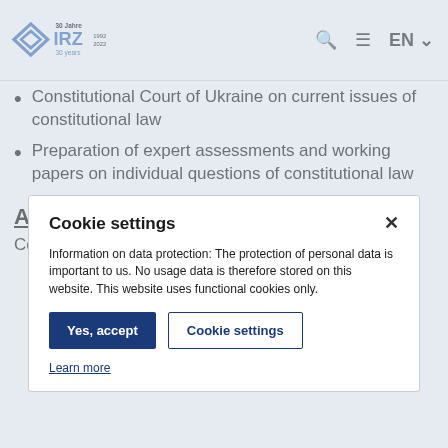IRZ 30 Jahre 1992–2022 30 years | Search | Menu | EN
Constitutional Court of Ukraine on current issues of constitutional law
Preparation of expert assessments and working papers on individual questions of constitutional law
Administration of Justice
Court to the Federal Court of Justice in Karlsruhe
Cookie settings

Information on data protection: The protection of personal data is important to us. No usage data is therefore stored on this website. This website uses functional cookies only.

Yes, accept | Cookie settings

Learn more